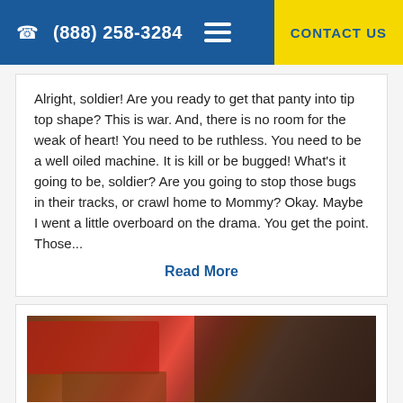(888) 258-3284  CONTACT US
Alright, soldier! Are you ready to get that panty into tip top shape? This is war. And, there is no room for the weak of heart! You need to be ruthless. You need to be a well oiled machine. It is kill or be bugged! What's it going to be, soldier? Are you going to stop those bugs in their tracks, or crawl home to Mommy? Okay. Maybe I went a little overboard on the drama. You get the point. Those...
Read More
[Figure (photo): A cluttered closet with various colorful clothing items, bags, and accessories.]